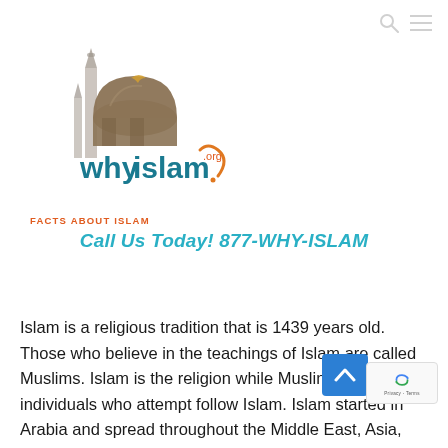[Figure (logo): WhyIslam.org logo with mosque/minaret image and text 'whyislam.org' with orange question mark, tagline 'FACTS ABOUT ISLAM' in orange below]
Call Us Today! 877-WHY-ISLAM
Islam is a religious tradition that is 1439 years old. Those who believe in the teachings of Islam are called Muslims. Islam is the religion while Muslims are individuals who attempt follow Islam. Islam started in Arabia and spread throughout the Middle East, Asia, Africa, and parts of Europe. Today, there